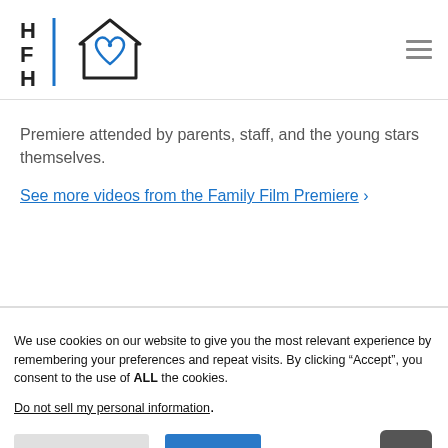[Figure (logo): HFH logo with house/heart icon in blue and black]
Premiere attended by parents, staff, and the young stars themselves.
See more videos from the Family Film Premiere ›
We use cookies on our website to give you the most relevant experience by remembering your preferences and repeat visits. By clicking “Accept”, you consent to the use of ALL the cookies.
Do not sell my personal information.